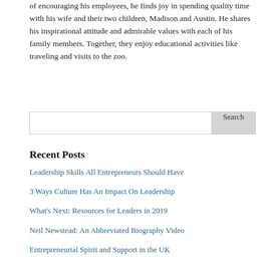of encouraging his employees, he finds joy in spending quality time with his wife and their two children, Madison and Austin. He shares his inspirational attitude and admirable values with each of his family members. Together, they enjoy educational activities like traveling and visits to the zoo.
Search
Recent Posts
Leadership Skills All Entrepreneurs Should Have
3 Ways Culture Has An Impact On Leadership
What's Next: Resources for Leaders in 2019
Neil Newstead: An Abbreviated Biography Video
Entrepreneurial Spirit and Support in the UK